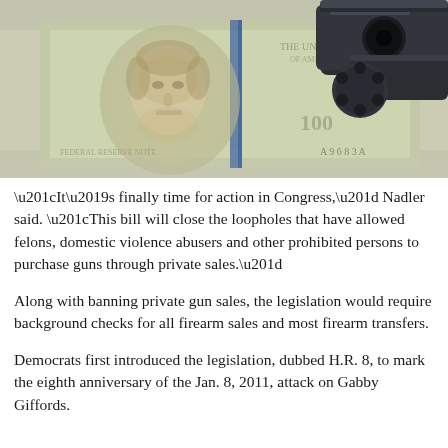[Figure (photo): Close-up photo of a revolver gun barrel resting on top of US $100 bills showing Benjamin Franklin's portrait]
“It’s finally time for action in Congress,” Nadler said. “This bill will close the loopholes that have allowed felons, domestic violence abusers and other prohibited persons to purchase guns through private sales.”
Along with banning private gun sales, the legislation would require background checks for all firearm sales and most firearm transfers.
Democrats first introduced the legislation, dubbed H.R. 8, to mark the eighth anniversary of the Jan. 8, 2011, attack on Gabby Giffords.